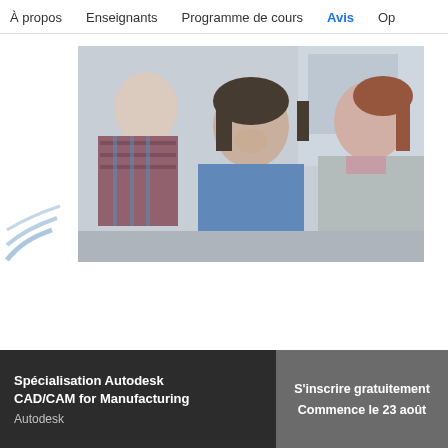À propos   Enseignants   Programme de cours   Avis   Op
[Figure (photo): Three people (two women and one man) looking at something together, smiling, in an office/classroom setting]
Spécialisation Autodesk CAD/CAM for Manufacturing
Autodesk
S'inscrire gratuitement
Commence le 23 août